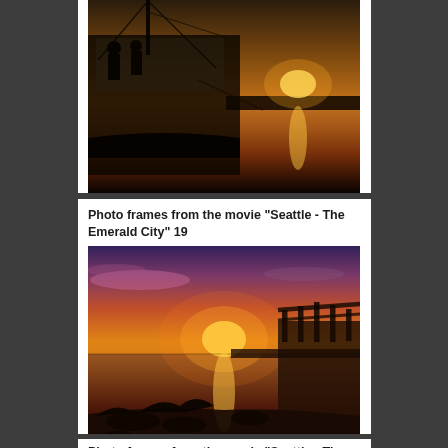[Figure (photo): Photo frame from the movie Seattle - The Emerald City, showing a fishing boat at a harbor during a golden sunset with orange reflections on the water]
Photo frames from the movie "Seattle - The Emerald City" 19
[Figure (photo): Photo frame from the movie Seattle - The Emerald City 19, showing a waterfront walkway with a building structure on the right, a vivid orange and purple sunset sky, and water reflections]
Photo frames from the movie "Seattle - The Emerald City" 20
[Figure (photo): Photo frame from the movie Seattle - The Emerald City 20, showing a shoreline at sunset with orange and purple sky reflecting on calm water, rocky shore in foreground]